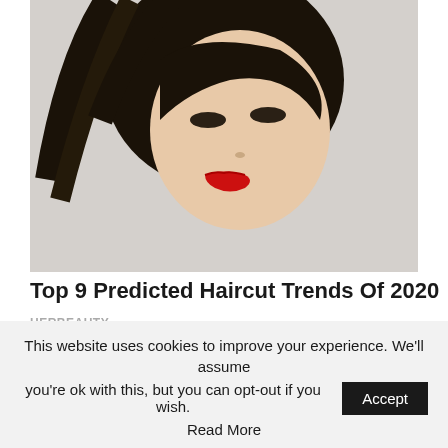[Figure (photo): Woman with dark hair and red lipstick, fashion/beauty editorial photo]
Top 9 Predicted Haircut Trends Of 2020
HERBEAUTY
Comments
Sponsored
[Figure (photo): Sponsored image with wood texture background]
This website uses cookies to improve your experience. We'll assume you're ok with this, but you can opt-out if you wish.
Accept
Read More